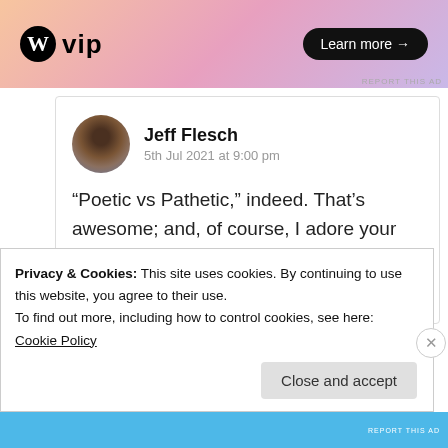[Figure (screenshot): WordPress VIP advertisement banner with gradient pink/purple background, WordPress logo circle and 'vip' text on left, 'Learn more →' black pill button on right, 'REPORT THIS AD' in small text bottom right]
Jeff Flesch
5th Jul 2021 at 9:00 pm
“Poetic vs Pathetic,” indeed. That’s awesome; and, of course, I adore your verse. 🙏❤️
★ Liked by 3 people
Privacy & Cookies: This site uses cookies. By continuing to use this website, you agree to their use.
To find out more, including how to control cookies, see here: Cookie Policy
Close and accept